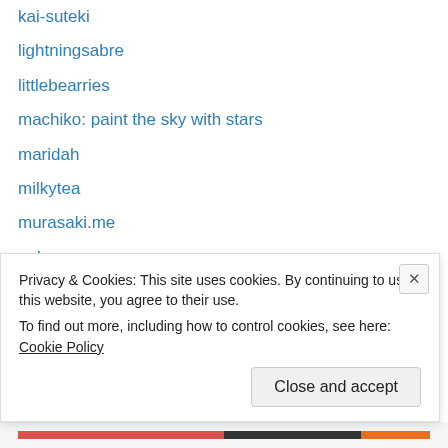kai-suteki
lightningsabre
littlebearries
machiko: paint the sky with stars
maridah
milkytea
murasaki.me
nekopon
otakusan167
plastic fantastic
puppy52
Suiseisaki
toel-uru
ultima-i
Privacy & Cookies: This site uses cookies. By continuing to use this website, you agree to their use.
To find out more, including how to control cookies, see here: Cookie Policy
Close and accept